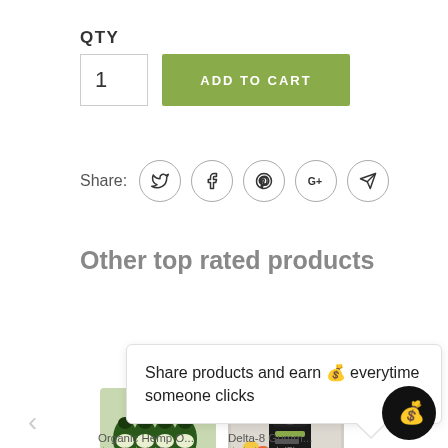QTY
1
ADD TO CART
Share:
Other top rated products
Share products and earn 🪙 everytime someone clicks
Organic Hemp O...
Delta-8 Gumm...
★★★★★ (4)
★★★★★ (5)